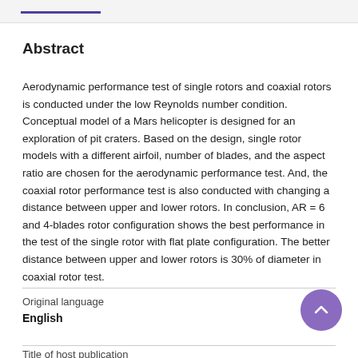Abstract
Aerodynamic performance test of single rotors and coaxial rotors is conducted under the low Reynolds number condition. Conceptual model of a Mars helicopter is designed for an exploration of pit craters. Based on the design, single rotor models with a different airfoil, number of blades, and the aspect ratio are chosen for the aerodynamic performance test. And, the coaxial rotor performance test is also conducted with changing a distance between upper and lower rotors. In conclusion, AR = 6 and 4-blades rotor configuration shows the best performance in the test of the single rotor with flat plate configuration. The better distance between upper and lower rotors is 30% of diameter in coaxial rotor test.
Original language
English
Title of host publication